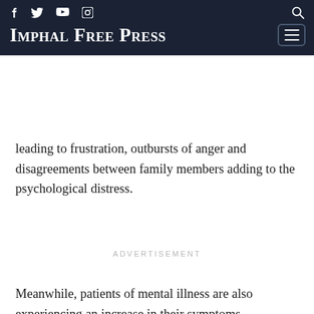Imphal Free Press — navigation header with social icons (f, Twitter, YouTube, Instagram), search icon, logo, and menu button
leading to frustration, outbursts of anger and disagreements between family members adding to the psychological distress.
ADVERTISEMENT
Meanwhile, patients of mental illness are also experiencing an increase in their symptoms